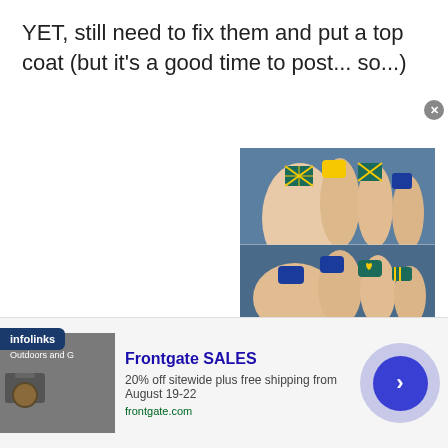YET, still need to fix them and put a top coat (but it's a good time to post... so...)
[Figure (photo): Two photos of hands showing nail art: yellow, blue, and teal patterned nails with argyle/diamond patterns, solid yellow nails, solid blue nails, and a nail with a heart design in yellow on teal with stripes]
infolinks
Frontgate SALES
20% off sitewide plus free shipping from August 19-22
frontgate.com